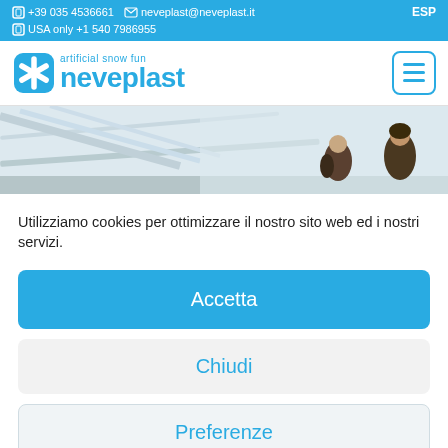☐ +39 035 4536661  ✉ neveplast@neveplast.it  ESP
☐ USA only +1 540 7986955
[Figure (logo): Neveplast logo with asterisk star icon and text 'artificial snow fun neveplast' in blue]
[Figure (photo): Hero banner showing two people on an artificial snow slope, white/gray snowy scene]
Utilizziamo cookies per ottimizzare il nostro sito web ed i nostri servizi.
Accetta
Chiudi
Preferenze
Cookie Policy